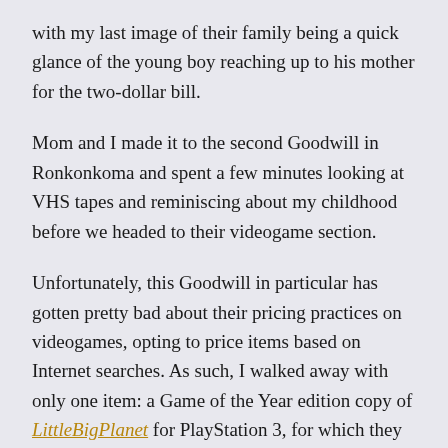with my last image of their family being a quick glance of the young boy reaching up to his mother for the two-dollar bill.
Mom and I made it to the second Goodwill in Ronkonkoma and spent a few minutes looking at VHS tapes and reminiscing about my childhood before we headed to their videogame section.
Unfortunately, this Goodwill in particular has gotten pretty bad about their pricing practices on videogames, opting to price items based on Internet searches. As such, I walked away with only one item: a Game of the Year edition copy of LittleBigPlanet for PlayStation 3, for which they wanted $3. Not unreasonable, I thought.
I dropped Mom off home afterwards and continued on my yard saling adventures. With about $20 left to spend for the day, I